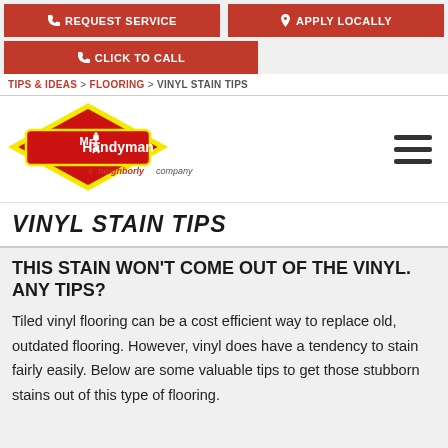REQUEST SERVICE | APPLY LOCALLY | CLICK TO CALL
TIPS & IDEAS > FLOORING > VINYL STAIN TIPS
[Figure (logo): Mr. Handyman logo with red diamond shape, yellow border, handyman figure, and text 'a neighborly company' below]
VINYL STAIN TIPS
THIS STAIN WON'T COME OUT OF THE VINYL. ANY TIPS?
Tiled vinyl flooring can be a cost efficient way to replace old, outdated flooring. However, vinyl does have a tendency to stain fairly easily. Below are some valuable tips to get those stubborn stains out of this type of flooring.